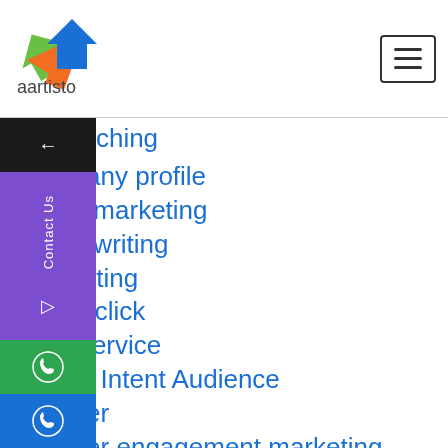[Figure (logo): Aartisto logo with colorful geometric arrow shapes and text 'aartisto' below]
coaching
company profile
content marketing
content writing
copywriting
pay per click
CRM service
Custom Intent Audience
customer
customer engagement marketing
Data Visualization
dentists
Digital Branding